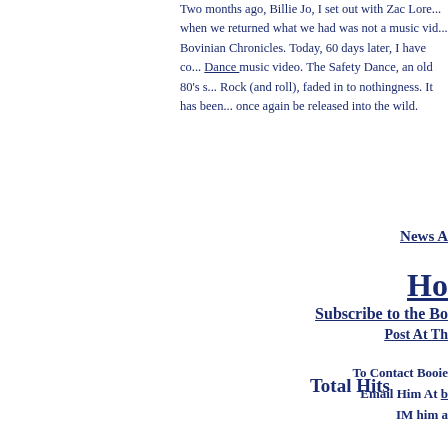Two months ago, Billie Jo, I set out with Zac Lore... when we returned what we had was not a music vid... Bovinian Chronicles. Today, 60 days later, I have co... Dance music video. The Safety Dance, an old 80's s... Rock (and roll), faded in to nothingness. It has been... once again be released into the wild.
News A
Ho
Subscribe to the Bo
Post At Th
To Contact Booie
Email Him At b
IM him a
Total Hits